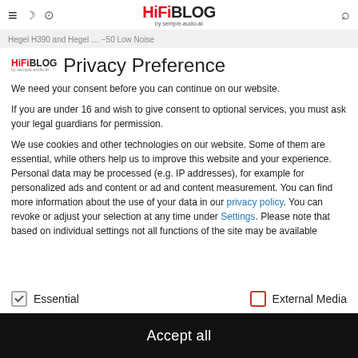HiFiBLOG by sempre-audio.at
Hegel H390 and Hegel … −50 Low Noise
Privacy Preference
We need your consent before you can continue on our website.
If you are under 16 and wish to give consent to optional services, you must ask your legal guardians for permission.
We use cookies and other technologies on our website. Some of them are essential, while others help us to improve this website and your experience. Personal data may be processed (e.g. IP addresses), for example for personalized ads and content or ad and content measurement. You can find more information about the use of your data in our privacy policy. You can revoke or adjust your selection at any time under Settings. Please note that based on individual settings not all functions of the site may be available
Essential
External Media
Accept all